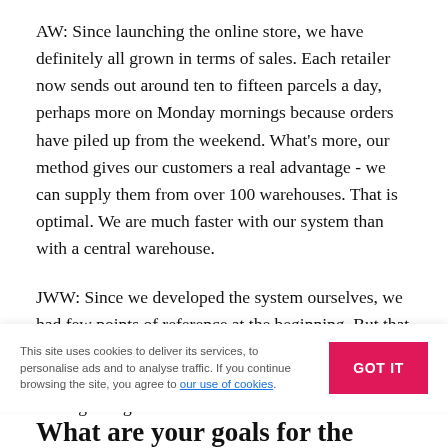AW: Since launching the online store, we have definitely all grown in terms of sales. Each retailer now sends out around ten to fifteen parcels a day, perhaps more on Monday mornings because orders have piled up from the weekend. What's more, our method gives our customers a real advantage - we can supply them from over 100 warehouses. That is optimal. We are much faster with our system than with a central warehouse.
JWW: Since we developed the system ourselves, we had few points of reference at the beginning. But that also makes the project even more valuable, because all stakeholders were involved in the process from the beginning and in the end.
This site uses cookies to deliver its services, to personalise ads and to analyse traffic. If you continue browsing the site, you agree to our use of cookies.
What are your goals for the